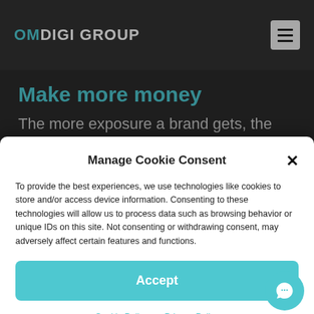OMDIGI GROUP
Make more money
The more exposure a brand gets, the
Manage Cookie Consent
To provide the best experiences, we use technologies like cookies to store and/or access device information. Consenting to these technologies will allow us to process data such as browsing behavior or unique IDs on this site. Not consenting or withdrawing consent, may adversely affect certain features and functions.
Accept
Cookie Policy  Privacy Policy